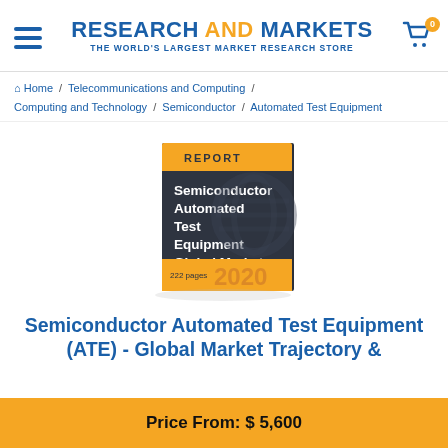RESEARCH AND MARKETS — THE WORLD'S LARGEST MARKET RESEARCH STORE
Home / Telecommunications and Computing / Computing and Technology / Semiconductor / Automated Test Equipment
[Figure (illustration): Book cover illustration for 'Semiconductor Automated Test Equipment Global Market' report, 2020, 222 pages, with dark grey and yellow design]
Semiconductor Automated Test Equipment (ATE) - Global Market Trajectory &
Price From: $5,600